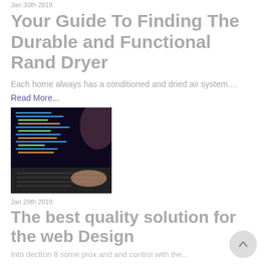Jan 30th 2019
Your Guide To Finding The Durable and Functional Rand Dryer
Each home always has a conditioned and dried air system....
Read More...
[Figure (photo): A person typing on a laptop with code on the screen, dark background]
Jan 29th 2019
The best quality solution for the web Design
Into dectton 8 some prox and and control with the...